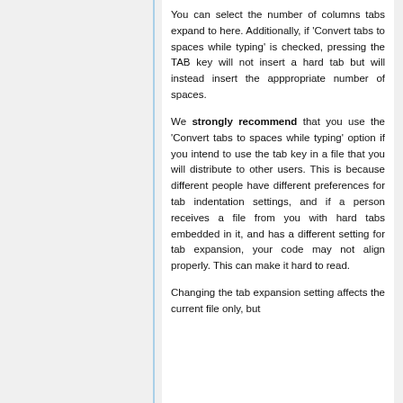You can select the number of columns tabs expand to here. Additionally, if 'Convert tabs to spaces while typing' is checked, pressing the TAB key will not insert a hard tab but will instead insert the apppropriate number of spaces.
We strongly recommend that you use the 'Convert tabs to spaces while typing' option if you intend to use the tab key in a file that you will distribute to other users. This is because different people have different preferences for tab indentation settings, and if a person receives a file from you with hard tabs embedded in it, and has a different setting for tab expansion, your code may not align properly. This can make it hard to read.
Changing the tab expansion setting affects the current file only, but...